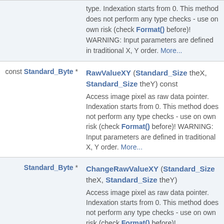| Return type | Method signature and description |
| --- | --- |
| const Standard_Byte * | RawValueXY (Standard_Size theX, Standard_Size theY) const
Access image pixel as raw data pointer. Indexation starts from 0. This method does not perform any type checks - use on own risk (check Format() before)! WARNING: Input parameters are defined in traditional X, Y order. More... |
| Standard_Byte * | ChangeRawValueXY (Standard_Size theX, Standard_Size theY)
Access image pixel as raw data pointer. Indexation starts from 0. This method does not perform any type checks - use on own risk (check Format() before)! |